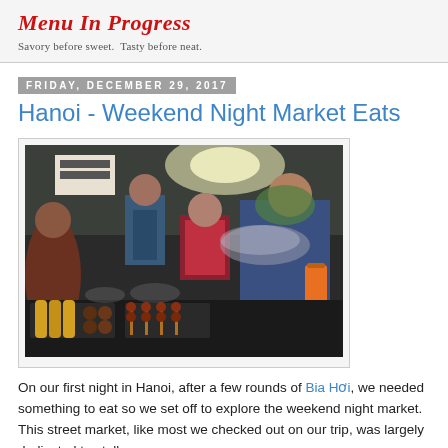Menu In Progress — Savory before sweet. Tasty before neat.
Friday, December 29, 2017
Hanoi - Weekend Night Market Eats
[Figure (photo): Street food vendors at a night market in Hanoi, with a man tending to a grill covered with various skewers, corn, and grilled items. People are seated and working around the stall.]
On our first night in Hanoi, after a few rounds of Bia Hơi, we needed something to eat so we set off to explore the weekend night market. This street market, like most we checked out on our trip, was largely dedicated to stalls